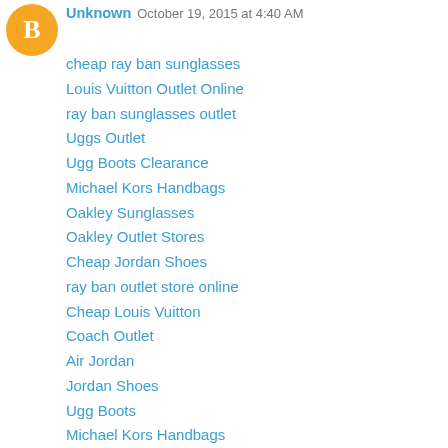[Figure (logo): Blogger avatar icon — orange circle with white B letter]
Unknown  October 19, 2015 at 4:40 AM
cheap ray ban sunglasses
Louis Vuitton Outlet Online
ray ban sunglasses outlet
Uggs Outlet
Ugg Boots Clearance
Michael Kors Handbags
Oakley Sunglasses
Oakley Outlet Stores
Cheap Jordan Shoes
ray ban outlet store online
Cheap Louis Vuitton
Coach Outlet
Air Jordan
Jordan Shoes
Ugg Boots
Michael Kors Handbags
Michael Kors Outlet Online Sale
Cheap Air Jordan
Jordan Shoes
cheap ray ban sunglasses
Michael Kors Outlet Online Sale